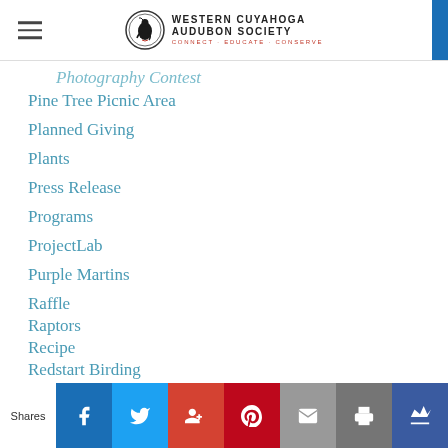Western Cuyahoga Audubon Society — Connect · Educate · Conserve
Photography Contest
Pine Tree Picnic Area
Planned Giving
Plants
Press Release
Programs
ProjectLab
Purple Martins
Raffle
Raptors
Recipe
Redstart Birding
Reports
Richfield Heritage Preserve
Rich Kassouf
Rivergate Park
Shares | Facebook | Twitter | Google+ | Pinterest | Email | Print | Crown